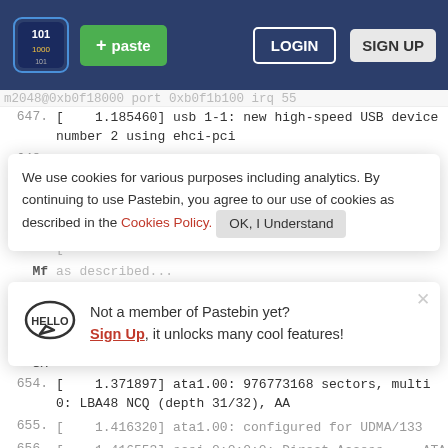Pastebin header with logo, + paste button, LOGIN, SIGN UP
m2048@0xb0f18000 port 0xb0f1b100 irq 55 (partial, truncated)
647. [    1.185460] usb 1-1: new high-speed USB device number 2 using ehci-pci
648. [    1.269505] ata1: SATA link up 6.0 Gbps (SStatus 133 SControl 300)
649. [    1.317906] usb 1-1: New USB device found (partial)
Cookie banner: We use cookies for various purposes including analytics. By continuing to use Pastebin, you agree to our use of cookies as described in the Cookies Policy. OK, I Understand
650. [    ...] (partially obscured)
651. [    1.318159] hub 1-1:1.0: USB hub found
652. [    ... (partially obscured)
653. [    ... (partially obscured) SM
Signup popup: Not a member of Pastebin yet? Sign Up, it unlocks many cool features!
654. [    1.371897] ata1.00: 976773168 sectors, multi 0: LBA48 NCQ (depth 31/32), AA
655. [    1.416320] ata1.00: configured for UDMA/133
656. [    1.416553] scsi 0:0:0:0: Direct-Access     ATA